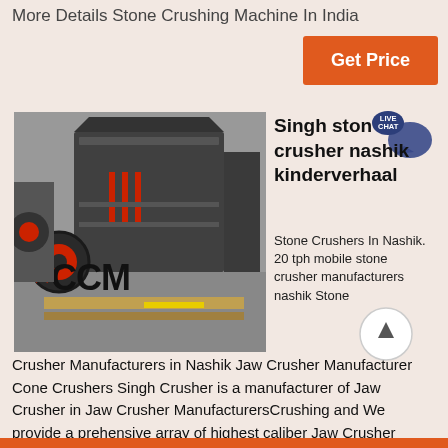More Details Stone Crushing Machine In India
Get Price
[Figure (photo): Industrial stone crusher machine with CCM branding label visible, large mechanical crushing equipment on a factory floor]
Singh stone crusher nashik kinderverhaal
Stone Crushers In Nashik. 20 tph mobile stone crusher manufacturers nashik Stone Crusher Manufacturers in Nashik Jaw Crusher Manufacturer Cone Crushers Singh Crusher is a manufacturer of Jaw Crusher in Jaw Crusher ManufacturersCrushing and We provide a prehensive array of highest caliber Jaw Crusher Mobile Crusher Wheel Mounted Roll CrusherCrushing and